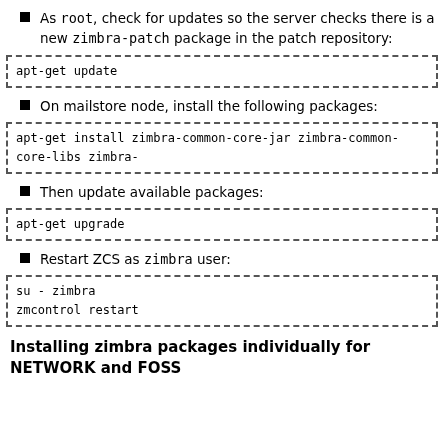As root, check for updates so the server checks there is a new zimbra-patch package in the patch repository:
apt-get update
On mailstore node, install the following packages:
apt-get install zimbra-common-core-jar zimbra-common-core-libs zimbra-
Then update available packages:
apt-get upgrade
Restart ZCS as zimbra user:
su - zimbra
zmcontrol restart
Installing zimbra packages individually for NETWORK and FOSS